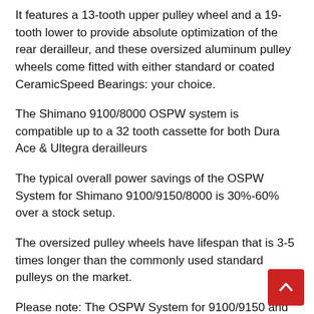It features a 13-tooth upper pulley wheel and a 19-tooth lower to provide absolute optimization of the rear derailleur, and these oversized aluminum pulley wheels come fitted with either standard or coated CeramicSpeed Bearings: your choice.
The Shimano 9100/8000 OSPW system is compatible up to a 32 tooth cassette for both Dura Ace & Ultegra derailleurs
The typical overall power savings of the OSPW System for Shimano 9100/9150/8000 is 30%-60% over a stock setup.
The oversized pulley wheels have lifespan that is 3-5 times longer than the commonly used standard pulleys on the market.
Please note: The OSPW System for 9100/9150 and 80…